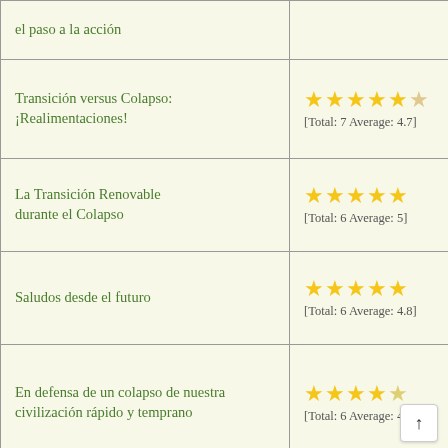| Título | Valoración |
| --- | --- |
| el paso a la acción |  |
| Transición versus Colapso: ¡Realimentaciones! | ★★★★★ [Total: 7 Average: 4.7] |
| La Transición Renovable durante el Colapso | ★★★★★ [Total: 6 Average: 5] |
| Saludos desde el futuro | ★★★★★ [Total: 6 Average: 4.8] |
| En defensa de un colapso de nuestra civilización rápido y temprano | ★★★★½ [Total: 6 Average: 4.5] |
| Reflexiones estratégicas entre cumbres climáticas y elecciones, para tiempos de colapso civilizatorio | ★★★★★ [Total: 5 Average: 4.8] |
| Los límites del conocimiento |  |